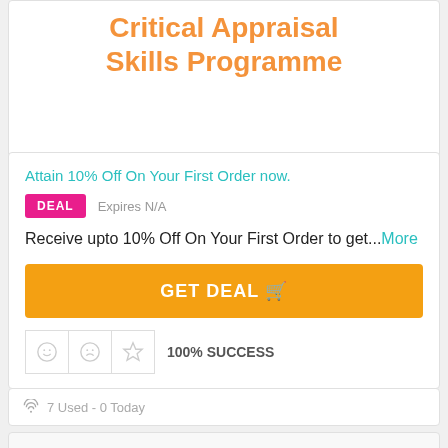Critical Appraisal Skills Programme
Attain 10% Off On Your First Order now.
DEAL   Expires N/A
Receive upto 10% Off On Your First Order to get...More
GET DEAL
100% SUCCESS
7 Used - 0 Today